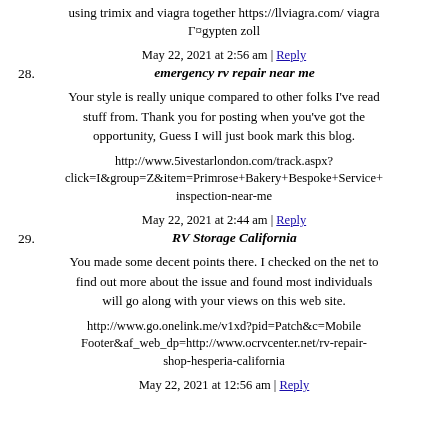using trimix and viagra together https://llviagra.com/ viagra Г¤gypten zoll
May 22, 2021 at 2:56 am | Reply
28. emergency rv repair near me
Your style is really unique compared to other folks I've read stuff from. Thank you for posting when you've got the opportunity, Guess I will just book mark this blog.
http://www.5ivestarlondon.com/track.aspx?click=I&group=Z&item=Primrose+Bakery+Bespoke+Service+inspection-near-me
May 22, 2021 at 2:44 am | Reply
29. RV Storage California
You made some decent points there. I checked on the net to find out more about the issue and found most individuals will go along with your views on this web site.
http://www.go.onelink.me/v1xd?pid=Patch&c=MobileFooter&af_web_dp=http://www.ocrvcenter.net/rv-repair-shop-hesperia-california
May 22, 2021 at 12:56 am | Reply